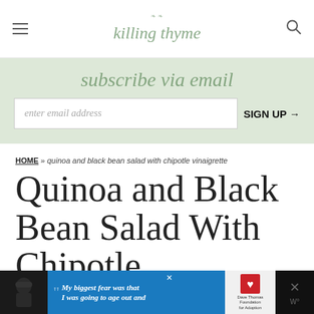killing thyme
subscribe via email
enter email address  SIGN UP →
HOME » quinoa and black bean salad with chipotle vinaigrette
Quinoa and Black Bean Salad With Chipotle Vinaigrette
[Figure (screenshot): Advertisement banner at bottom: black and blue bar with a person in a beanie hat, quote text 'My biggest fear was that I was going to age out and', Dave Thomas Foundation for Adoption logo, and close/navigation icons]